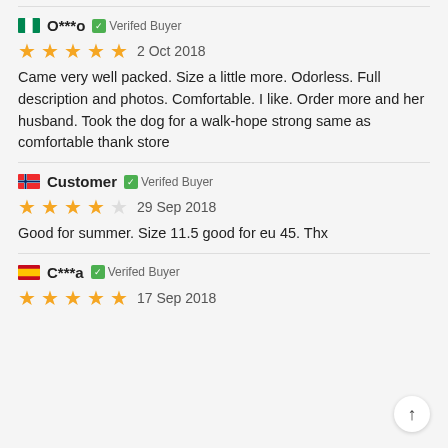O***o — Verifed Buyer
★★★★★ 2 Oct 2018
Came very well packed. Size a little more. Odorless. Full description and photos. Comfortable. I like. Order more and her husband. Took the dog for a walk-hope strong same as comfortable thank store
Customer — Verifed Buyer
★★★★☆ 29 Sep 2018
Good for summer. Size 11.5 good for eu 45. Thx
C***a — Verifed Buyer
★★★★★ 17 Sep 2018